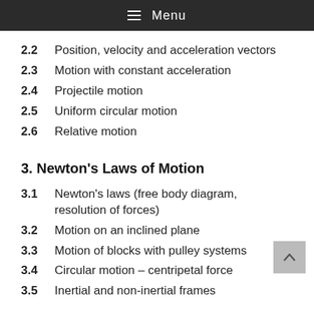≡ Menu
2.2  Position, velocity and acceleration vectors
2.3  Motion with constant acceleration
2.4  Projectile motion
2.5  Uniform circular motion
2.6  Relative motion
3. Newton's Laws of Motion
3.1  Newton's laws (free body diagram, resolution of forces)
3.2  Motion on an inclined plane
3.3  Motion of blocks with pulley systems
3.4  Circular motion – centripetal force
3.5  Inertial and non-inertial frames
4. Impulse and Momentum